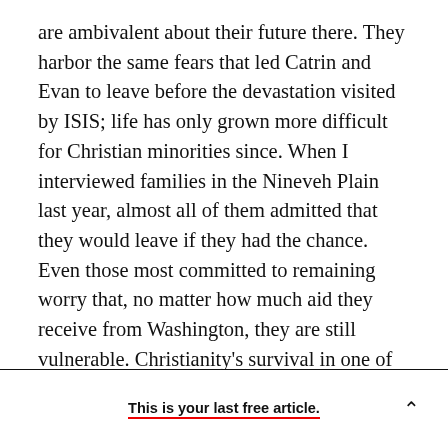are ambivalent about their future there. They harbor the same fears that led Catrin and Evan to leave before the devastation visited by ISIS; life has only grown more difficult for Christian minorities since. When I interviewed families in the Nineveh Plain last year, almost all of them admitted that they would leave if they had the chance. Even those most committed to remaining worry that, no matter how much aid they receive from Washington, they are still vulnerable. Christianity's survival in one of the places where it first took root will depend on whether they decide to stay.
This is your last free article.